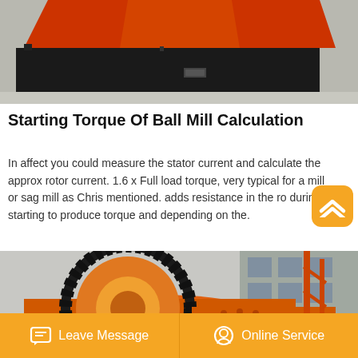[Figure (photo): Top photo showing orange and black industrial milling machine equipment on a concrete floor]
Starting Torque Of Ball Mill Calculation
In affect you could measure the stator current and calculate the approx rotor current. 1.6 x Full load torque, very typical for a mill or sag mill as Chris mentioned. adds resistance in the ro... during starting to produce torque and depending on the.
[Figure (photo): Bottom photo showing large orange industrial ball mill with prominent gear/ring assembly and machinery components]
Leave Message   Online Service